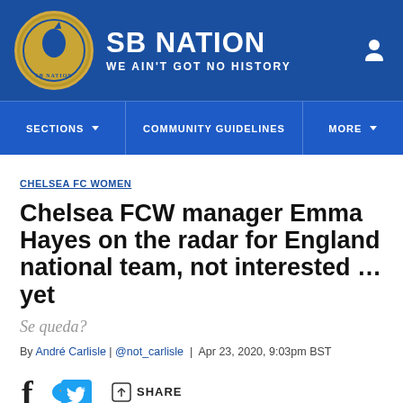SB NATION — WE AIN'T GOT NO HISTORY
SECTIONS | COMMUNITY GUIDELINES | MORE
CHELSEA FC WOMEN
Chelsea FCW manager Emma Hayes on the radar for England national team, not interested … yet
Se queda?
By André Carlisle | @not_carlisle | Apr 23, 2020, 9:03pm BST
f  SHARE (social sharing bar)